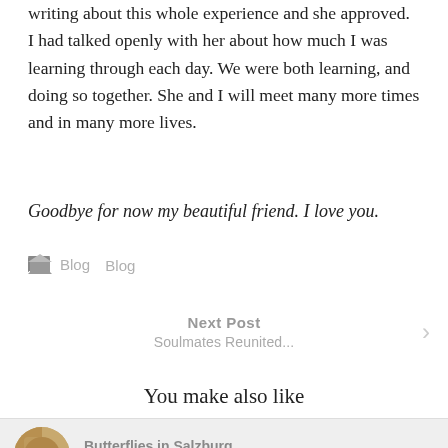writing about this whole experience and she approved. I had talked openly with her about how much I was learning through each day. We were both learning, and doing so together. She and I will meet many more times and in many more lives.
Goodbye for now my beautiful friend. I love you.
Blog
Next Post
Soulmates Reunited...
You make also like
Butterflies in Salzburg...
December 15, 2021
Tartan Day
April 6, 2021